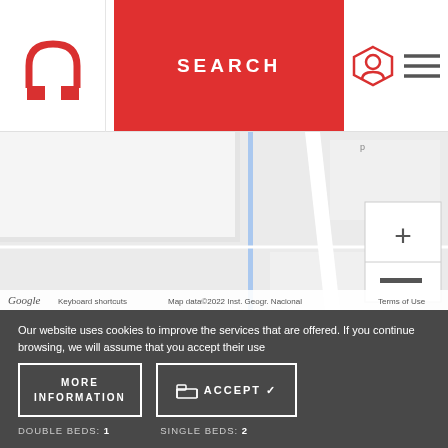[Figure (screenshot): Website header with logo, red SEARCH button, customer service icon and hamburger menu]
[Figure (map): Google Maps street map showing road layout with zoom controls. Map data ©2022 Inst. Geogr. Nacional. Keyboard shortcuts. Terms of Use.]
Our website uses cookies to improve the services that are offered. If you continue browsing, we will assume that you accept their use
Bed distribution
MORE INFORMATION
ACCEPT ✓
DOUBLE BEDS: 1
SINGLE BEDS: 2